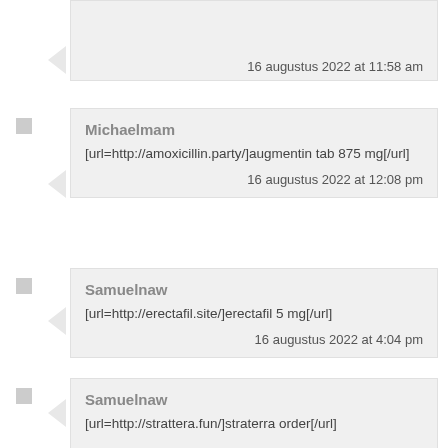16 augustus 2022 at 11:58 am
Michaelmam
[url=http://amoxicillin.party/]augmentin tab 875 mg[/url]
16 augustus 2022 at 12:08 pm
Samuelnaw
[url=http://erectafil.site/]erectafil 5 mg[/url]
16 augustus 2022 at 4:04 pm
Samuelnaw
[url=http://strattera.fun/]straterra order[/url]
16 augustus 2022 at 8:47 pm